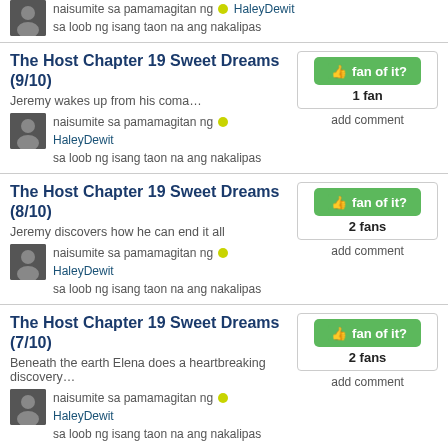naisumite sa pamamagitan ng 🟡 HaleyDewit
sa loob ng isang taon na ang nakalipas
The Host Chapter 19 Sweet Dreams (9/10)
Jeremy wakes up from his coma…
naisumite sa pamamagitan ng 🟡 HaleyDewit
sa loob ng isang taon na ang nakalipas
The Host Chapter 19 Sweet Dreams (8/10)
Jeremy discovers how he can end it all
naisumite sa pamamagitan ng 🟡 HaleyDewit
sa loob ng isang taon na ang nakalipas
The Host Chapter 19 Sweet Dreams (7/10)
Beneath the earth Elena does a heartbreaking discovery…
naisumite sa pamamagitan ng 🟡 HaleyDewit
sa loob ng isang taon na ang nakalipas
The Host Chapter 19 Sweet Dreams (6/10)
Elena tries to get to the center of the field, but Nature tries to stop her…